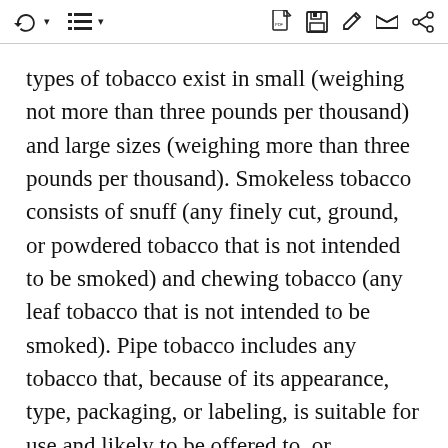[toolbar with navigation and action icons]
types of tobacco exist in small (weighing not more than three pounds per thousand) and large sizes (weighing more than three pounds per thousand). Smokeless tobacco consists of snuff (any finely cut, ground, or powdered tobacco that is not intended to be smoked) and chewing tobacco (any leaf tobacco that is not intended to be smoked). Pipe tobacco includes any tobacco that, because of its appearance, type, packaging, or labeling, is suitable for use and likely to be offered to, or purchased by, consumers as tobacco to be smoked in a pipe. Roll-your-own tobacco includes any tobacco that, because of its appearance, type, packaging, or labeling, is suitable for use and likely to be offered to, or purchased by, consumers as tobacco for